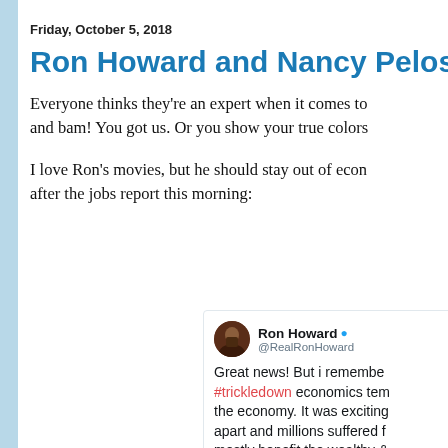Friday, October 5, 2018
Ron Howard and Nancy Pelosi on ec…
Everyone thinks they're an expert when it comes to economics. Say the right thing and bam! You got us. Or you show your true colors…
I love Ron's movies, but he should stay out of economics. Here's what he said after the jobs report this morning:
[Figure (screenshot): Tweet from Ron Howard (@RealRonHoward) verified account: 'Great news! But i remember #trickledown economics tem… the economy. It was exciting… apart and millions suffered f… mostly benefit the wealthy &… stopped suffering. Very simil… #Vote']